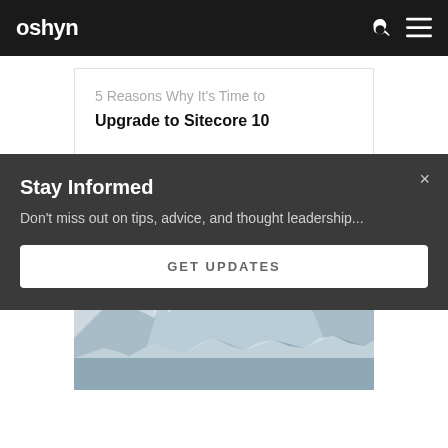oshyn
5 Reasons Why It's Time to Upgrade to Sitecore 10
OSHYN
[Figure (photo): Snow-capped mountain peaks against a light grey sky]
Stay Informed
Don't miss out on tips, advice, and thought leadership...
GET UPDATES